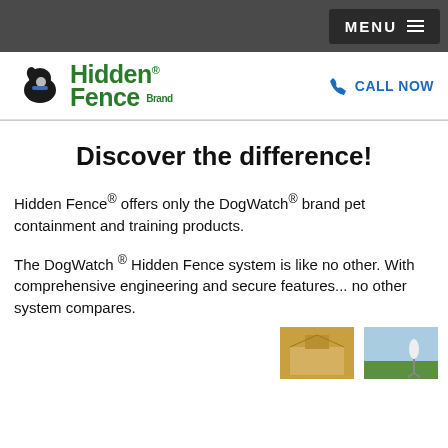MENU
[Figure (logo): Hidden Fence Brand logo with dog silhouette and green text]
CALL NOW
Discover the difference!
Hidden Fence® offers only the DogWatch® brand pet containment and training products.
The DogWatch ® Hidden Fence system is like no other. With comprehensive engineering and secure features... no other system compares.
[Figure (photo): Two small product/scene thumbnail images at bottom of page]